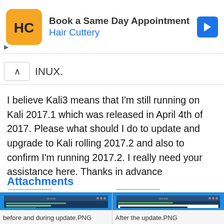[Figure (screenshot): Hair Cuttery advertisement banner with logo and navigation arrow]
INUX.
I believe Kali3 means that I'm still running on Kali 2017.1 which was released in April 4th of 2017. Please what should I do to update and upgrade to Kali rolling 2017.2 and also to confirm I'm running 2017.2. I really need your assistance here. Thanks in advance
Attachments
[Figure (screenshot): Terminal screenshot labeled 'before and during update.PNG']
before and during update.PNG
[Figure (screenshot): Terminal screenshot labeled 'After the update.PNG']
After the update.PNG